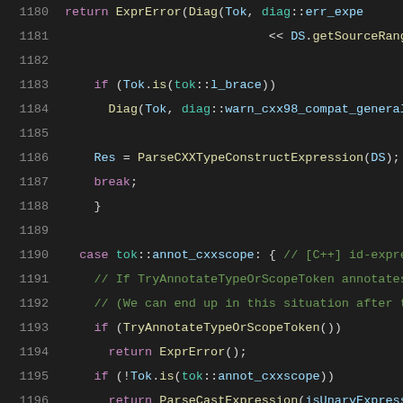[Figure (screenshot): C++ source code editor view showing lines 1180-1201 with syntax highlighting on dark background. Code involves parser functions including ExprError, ParseCXXTypeConstructExpression, TryAnnotateTypeOrScopeToken, ParseCastExpression.]